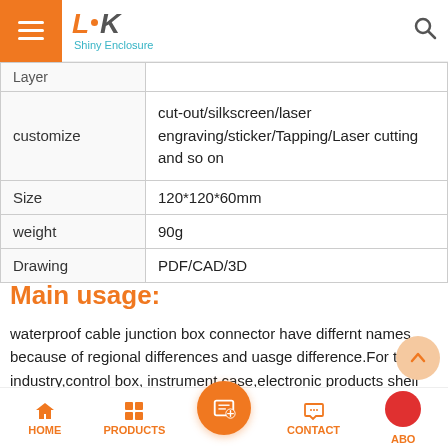LK Shiny Enclosure
| (layer) |  |
| customize | cut-out/silkscreen/laser engraving/sticker/Tapping/Laser cutting and so on |
| Size | 120*120*60mm |
| weight | 90g |
| Drawing | PDF/CAD/3D |
Main usage:
waterproof cable junction box connector have differnt names because of regional differences and uasge difference.For the industry,control box, instrument case,electronic products shell are mainly used.The portable
HOME  PRODUCTS  [center button]  CONTACT  ABO...